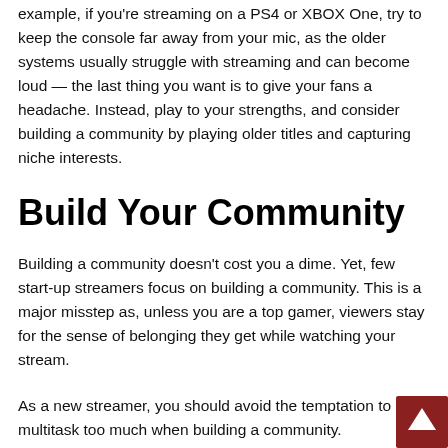example, if you're streaming on a PS4 or XBOX One, try to keep the console far away from your mic, as the older systems usually struggle with streaming and can become loud — the last thing you want is to give your fans a headache. Instead, play to your strengths, and consider building a community by playing older titles and capturing niche interests.
Build Your Community
Building a community doesn't cost you a dime. Yet, few start-up streamers focus on building a community. This is a major misstep as, unless you are a top gamer, viewers stay for the sense of belonging they get while watching your stream.
As a new streamer, you should avoid the temptation to multitask too much when building a community. Experienced streamers like StoneMoutain and xQcOW are great at talking to their chat while they play, but focusing too much on your